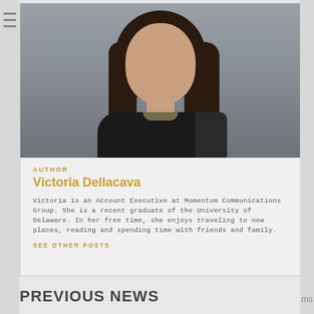[Figure (photo): Headshot portrait of Victoria Dellacava, a woman with dark curly hair wearing a black lace top and necklace, against a grey background]
AUTHOR
Victoria Dellacava
Victoria is an Account Executive at Momentum Communications Group. She is a recent graduate of the University of Delaware. In her free time, she enjoys traveling to new places, reading and spending time with friends and family.
SEE OTHER POSTS
PREVIOUS NEWS